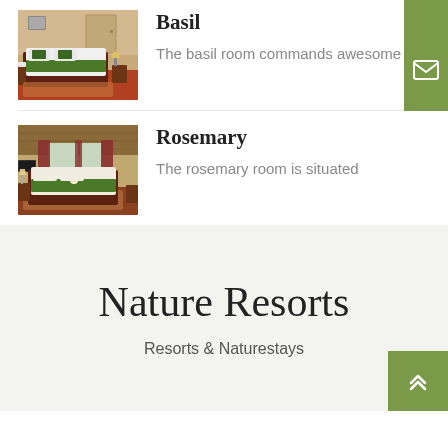[Figure (photo): Hotel room photo showing a bed with green accents and white linens - Basil room]
Basil
The basil room commands awesome
[Figure (photo): Hotel room photo showing a room with curtains, windows, and green-accented bed - Rosemary room]
Rosemary
The rosemary room is situated
Nature Resorts
Resorts & Naturestays